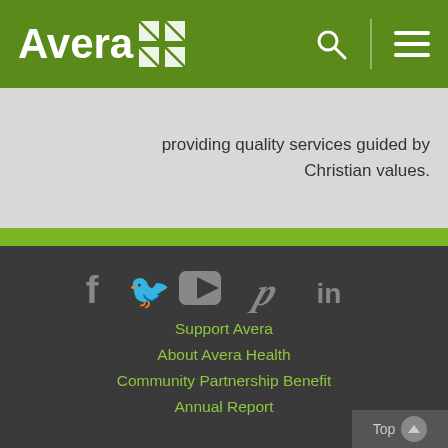[Figure (logo): Avera Health logo with cross/grid icon on dark green navigation bar with search and menu icons]
providing quality services guided by Christian values.
[Figure (infographic): Social media icons: Facebook, Twitter, YouTube, Pinterest, LinkedIn in gray on dark background]
Support Avera
About Avera Health
Community Partnership Benefit
Annual Report
Top